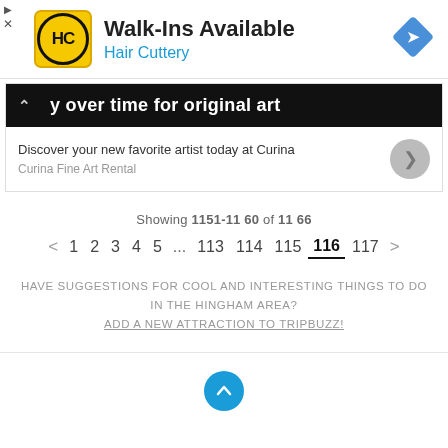[Figure (screenshot): Hair Cuttery ad banner with yellow HC logo, 'Walk-Ins Available' heading, 'Hair Cuttery' subtitle in blue, and a blue diamond navigation arrow icon on the right]
[Figure (screenshot): Curina Fine Art Rental advertisement with black header showing partial text 'y over time for original art', body text 'Discover your new favorite artist today at Curina', 'Curina Fine Art Rental' label, and a grey circular arrow button]
Showing 1151-1160 of 1166
< 1 2 3 4 5 ... 113 114 115 116 117 >
HAVE SUGGESTIONS FOR COOL AND INTERESTING THINGS TO DO IN THE HINGHAM AREA?
ADD A NEW ATTRACTION TO TRIPBUZZ!
[Figure (illustration): Teal circular scroll-to-top button with upward chevron arrow]